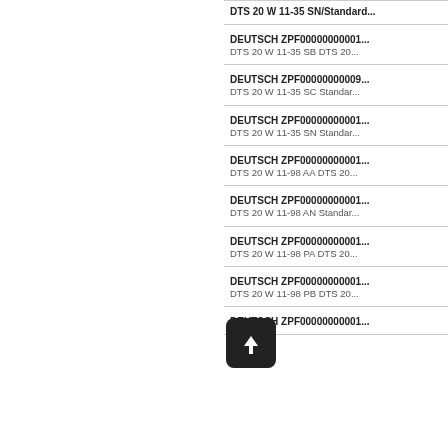DEUTSCH ZPF00000000001...
DTS 20 W 11-35 SB DTS 20...
DEUTSCH ZPF00000000009...
DTS 20 W 11-35 SC Standard...
DEUTSCH ZPF00000000001...
DTS 20 W 11-35 SN Standard...
DEUTSCH ZPF00000000001...
DTS 20 W 11-98 AA DTS 20...
DEUTSCH ZPF00000000001...
DTS 20 W 11-98 AN Standard...
DEUTSCH ZPF00000000001...
DTS 20 W 11-98 PA DTS 20...
DEUTSCH ZPF00000000001...
DTS 20 W 11-98 PB DTS 20...
DEUTSCH ZPF00000000001...